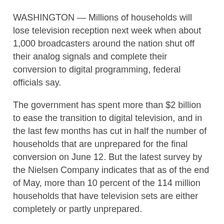WASHINGTON — Millions of households will lose television reception next week when about 1,000 broadcasters around the nation shut off their analog signals and complete their conversion to digital programming, federal officials say.
The government has spent more than $2 billion to ease the transition to digital television, and in the last few months has cut in half the number of households that are unprepared for the final conversion on June 12. But the latest survey by the Nielsen Company indicates that as of the end of May, more than 10 percent of the 114 million households that have television sets are either completely or partly unprepared.
Michael J. Copps, the acting head of the Federal Communications Commission, said that the people most likely to lose reception are society's most vulnerable — lower-income families, the elderly, the handicapped and homes where little or no English is spoken. The transition will also hit inner-city and rural areas hardest, he said.
“We are much better prepared than we were in February, when the original transition was to have occurred, but there